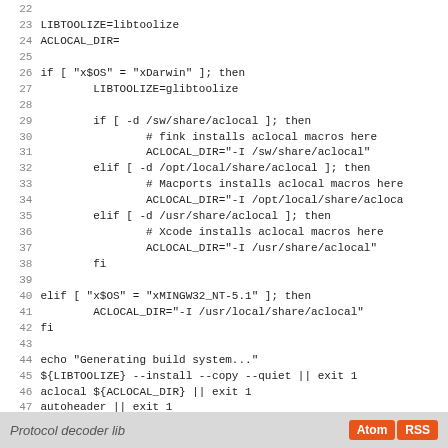Code listing lines 22-50: shell script for build system generation
Protocol decoder lib | Atom | RSS